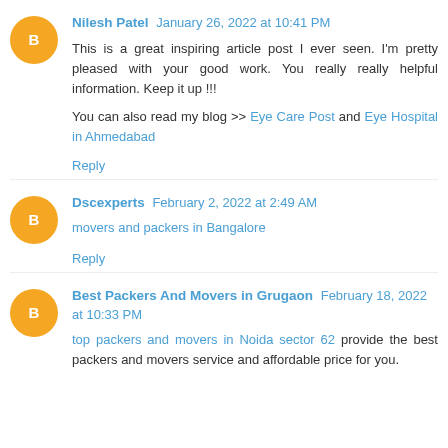Nilesh Patel January 26, 2022 at 10:41 PM
This is a great inspiring article post I ever seen. I'm pretty pleased with your good work. You really really helpful information. Keep it up !!!

You can also read my blog >> Eye Care Post and Eye Hospital in Ahmedabad

Reply
Dscexperts February 2, 2022 at 2:49 AM
movers and packers in Bangalore
Reply
Best Packers And Movers in Grugaon February 18, 2022 at 10:33 PM
top packers and movers in Noida sector 62 provide the best packers and movers service and affordable price for you.